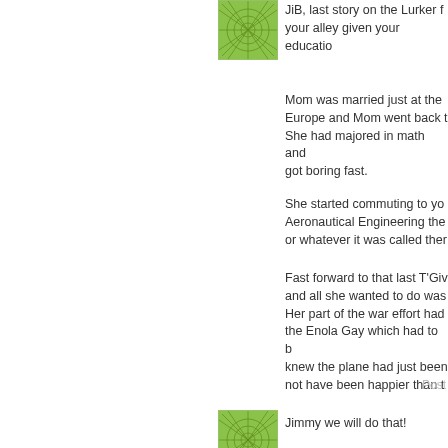[Figure (illustration): Green sunburst/geometric pattern avatar icon, square]
JiB, last story on the Lurker Front might be right up your alley given your educatio...
Mom was married just at the... Europe and Mom went back t... She had majored in math and... got boring fast.
She started commuting to yo... Aeronautical Engineering the... or whatever it was called ther...
Fast forward to that last T'Giv... and all she wanted to do was... Her part of the war effort had... the Enola Gay which had to b... knew the plane had just been... not have been happier than t...
Post...
[Figure (illustration): Green sunburst/geometric pattern avatar icon, square]
Jimmy we will do that!
Post...
[Figure (illustration): Blue/teal wave pattern avatar icon, square]